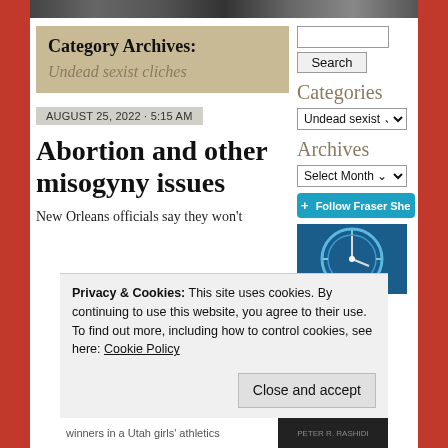Category Archives: Undead sexist cliches
Categories
Archives
AUGUST 25, 2022 · 5:15 AM
Abortion and other misogyny issues
New Orleans officials say they won't
[Figure (photo): Circular clock or dial image with blue tones]
Privacy & Cookies: This site uses cookies. By continuing to use this website, you agree to their use. To find out more, including how to control cookies, see here: Cookie Policy
Close and accept
winners in a Utah girls' athletics